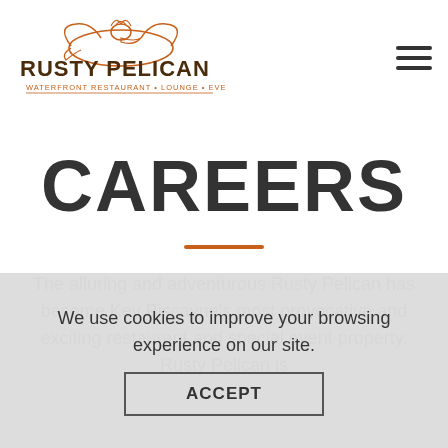[Figure (logo): Rusty Pelican logo with pelican bird illustration and text: RUSTY PELICAN, WATERFRONT RESTAURANT • LOUNGE • EVENTS]
CAREERS
The alluring and adventurous Rusty Pelican has become Key Biscayne's most provocative and exciting restaurant and special event property. Rusty Pelican is
We use cookies to improve your browsing experience on our site.
ACCEPT